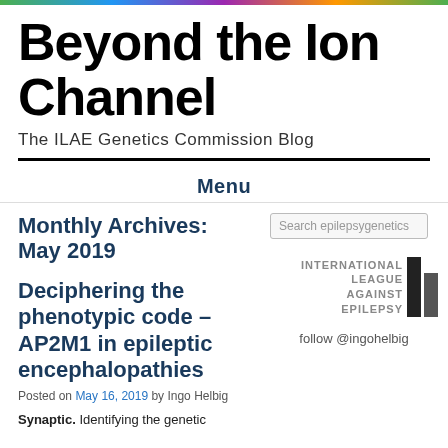Beyond the Ion Channel
The ILAE Genetics Commission Blog
Menu
Monthly Archives: May 2019
Deciphering the phenotypic code – AP2M1 in epileptic encephalopathies
Posted on May 16, 2019 by Ingo Helbig
Synaptic. Identifying the genetic
[Figure (logo): International League Against Epilepsy (ILAE) logo with text and two vertical bars]
follow @ingohelbig